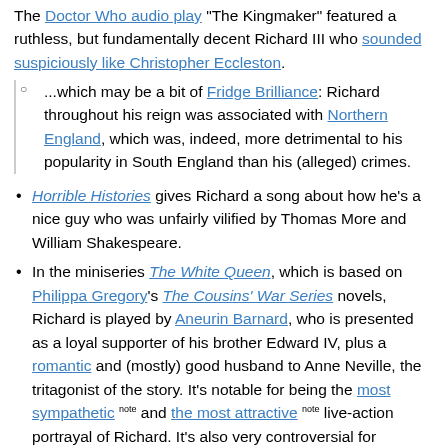The Doctor Who audio play "The Kingmaker" featured a ruthless, but fundamentally decent Richard III who sounded suspiciously like Christopher Eccleston.
...which may be a bit of Fridge Brilliance: Richard throughout his reign was associated with Northern England, which was, indeed, more detrimental to his popularity in South England than his (alleged) crimes.
Horrible Histories gives Richard a song about how he's a nice guy who was unfairly vilified by Thomas More and William Shakespeare.
In the miniseries The White Queen, which is based on Philippa Gregory's The Cousins' War Series novels, Richard is played by Aneurin Barnard, who is presented as a loyal supporter of his brother Edward IV, plus a romantic and (mostly) good husband to Anne Neville, the tritagonist of the story. It's notable for being the most sympathetic note and the most attractive note live-action portrayal of Richard. It's also very controversial for including an affair between him and his niece Elizabeth of